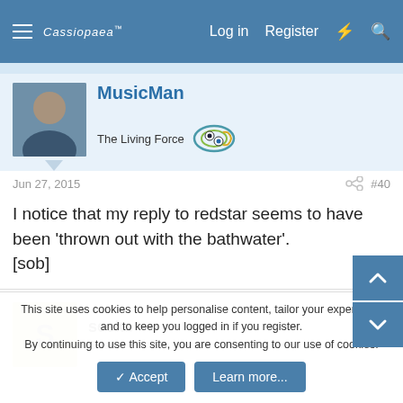[Figure (screenshot): Forum navigation bar with hamburger menu, Cassiopaea logo, Log in, Register, lightning bolt and search icons on blue background]
MusicMan
The Living Force
Jun 27, 2015
#40
I notice that my reply to redstar seems to have been 'thrown out with the bathwater'.
[sob]
seeks
Guest
This site uses cookies to help personalise content, tailor your experience and to keep you logged in if you register.
By continuing to use this site, you are consenting to our use of cookies.
✓ Accept
Learn more...